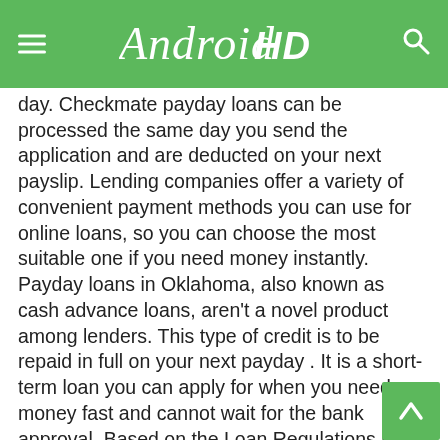AndroidHD
day. Checkmate payday loans can be processed the same day you send the application and are deducted on your next payslip. Lending companies offer a variety of convenient payment methods you can use for online loans, so you can choose the most suitable one if you need money instantly. Payday loans in Oklahoma, also known as cash advance loans, aren't a novel product among lenders. This type of credit is to be repaid in full on your next payday . It is a short-term loan you can apply for when you need money fast and cannot wait for the bank approval. Based on the Loan Regulations laid by Oklahoma, the minimum eligibility age of a borrower applying for quick payday loans online is 18. However, there are a few organizations that have increased the eligibility age to a few years more for their own safety. One needs to be aware of the age requirements of the particular lender he/she is applying with. Cash advance loans are often the most expensive option, but they will also completely help you with your financial emergency. We all know that these days, it is very easy to